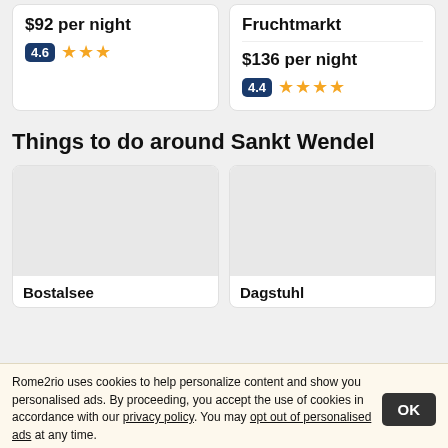$92 per night
4.6 ★★★
Fruchtmarkt
$136 per night
4.4 ★★★★
Things to do around Sankt Wendel
[Figure (photo): Placeholder image for Bostalsee attraction card]
[Figure (photo): Placeholder image for Dagstuhl attraction card]
Bostalsee
Dagstuhl
Rome2rio uses cookies to help personalize content and show you personalised ads. By proceeding, you accept the use of cookies in accordance with our privacy policy. You may opt out of personalised ads at any time.
OK